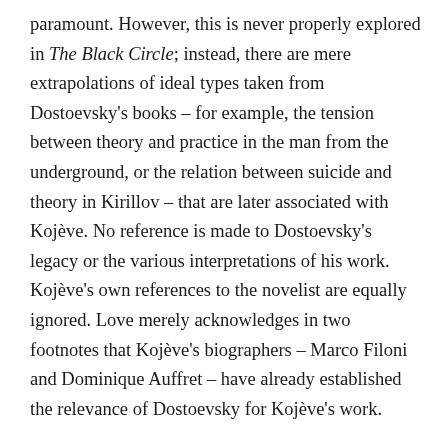paramount. However, this is never properly explored in The Black Circle; instead, there are mere extrapolations of ideal types taken from Dostoevsky's books – for example, the tension between theory and practice in the man from the underground, or the relation between suicide and theory in Kirillov – that are later associated with Kojève. No reference is made to Dostoevsky's legacy or the various interpretations of his work. Kojève's own references to the novelist are equally ignored. Love merely acknowledges in two footnotes that Kojève's biographers – Marco Filoni and Dominique Auffret – have already established the relevance of Dostoevsky for Kojève's work.
Love's analysis of Vladimir Soloviev, on whom Kojève wrote his thesis and published a few articles, is